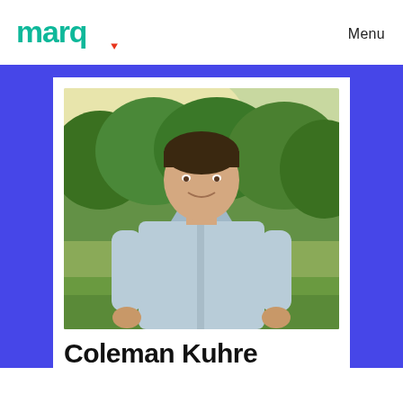marq. Menu
[Figure (photo): Portrait photo of Coleman Kuhre, a young man with short dark hair, smiling, wearing a light blue button-up shirt, standing outdoors with green trees and grass in the background. The photo is framed with a blue/purple border.]
Coleman Kuhre